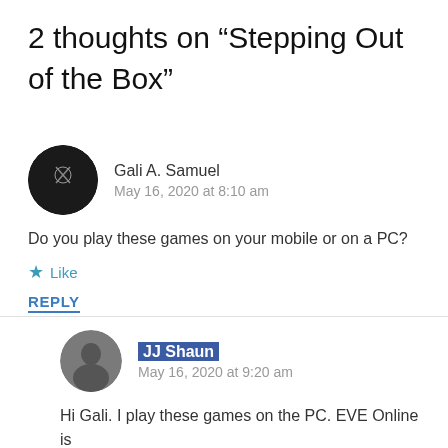2 thoughts on “Stepping Out of the Box”
Gali A. Samuel
May 16, 2020 at 8:10 am
Do you play these games on your mobile or on a PC?
★ Like
REPLY
JJ Shaun
May 16, 2020 at 9:20 am
Hi Gali. I play these games on the PC. EVE Online is